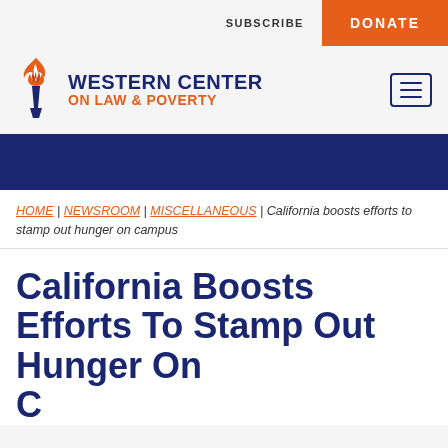SUBSCRIBE | DONATE
[Figure (logo): Western Center on Law & Poverty logo with torch flame icon, organization name in navy and orange, and hamburger menu button]
HOME | NEWSROOM | MISCELLANEOUS | California boosts efforts to stamp out hunger on campus
California Boosts Efforts To Stamp Out Hunger On Campus